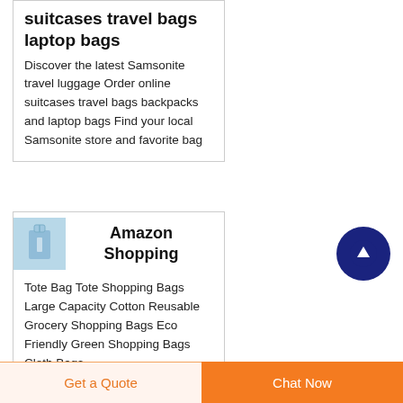suitcases travel bags laptop bags
Discover the latest Samsonite travel luggage Order online suitcases travel bags backpacks and laptop bags Find your local Samsonite store and favorite bag
[Figure (photo): Small thumbnail image of a shopping bag or tote, blue-toned]
Amazon Shopping
Tote Bag Tote Shopping Bags Large Capacity Cotton Reusable Grocery Shopping Bags Eco Friendly Green Shopping Bags Cloth Bags...
[Figure (other): Blue circular up-arrow button]
Get a Quote
Chat Now